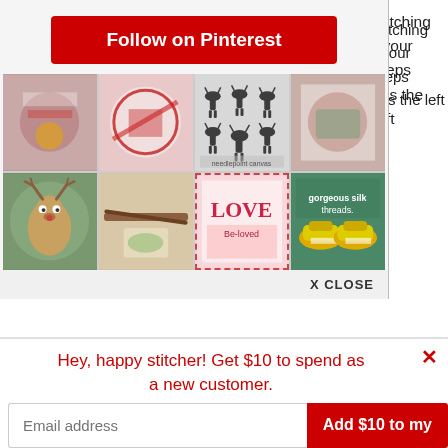[Figure (screenshot): Pinterest follow button popup overlay showing a red 'Follow on Pinterest' button and a 2x4 grid of needlepoint/cross-stitch craft images including reindeer, Christmas ornaments, deer silhouettes, love cards, and yellow sneakers. Ends with an X CLOSE bar.]
stitching
t your steps
it is the left
nd corner of
ead and start
-hand side of the rectangle.  Note that this is a pole row, so start your thread at the top so that you maintain
Hey, happy stitcher! Get $10 to spend as a new customer.
Email address
Add $10 to my